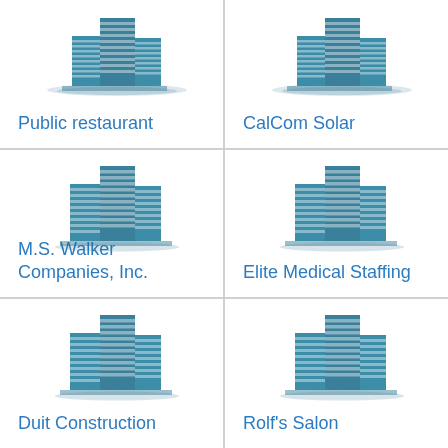[Figure (logo): Building icon for Public restaurant]
Public restaurant
[Figure (logo): Building icon for CalCom Solar]
CalCom Solar
[Figure (logo): Building icon for M.S. Walker Companies, Inc.]
M.S. Walker Companies, Inc.
[Figure (logo): Building icon for Elite Medical Staffing]
Elite Medical Staffing
[Figure (logo): Building icon for Duit Construction]
Duit Construction
[Figure (logo): Building icon for Rolf's Salon]
Rolf's Salon